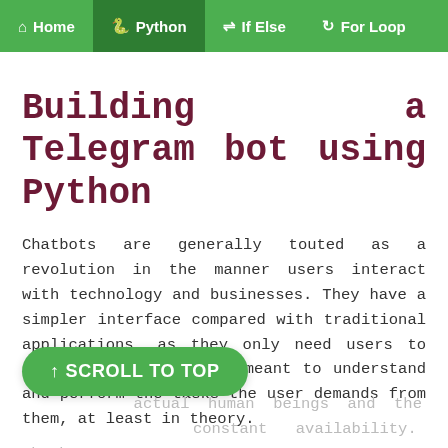Home | Python | If Else | For Loop
Building a Telegram bot using Python
Chatbots are generally touted as a revolution in the manner users interact with technology and businesses. They have a simpler interface compared with traditional applications, as they only need users to chat. The chatbots are meant to understand and perform the tasks the user demands from them, at least in theory.
Many industries are shifting their customer service to chatbot systems because of the huge drop in the actual human beings and the constant availability. Chatbots